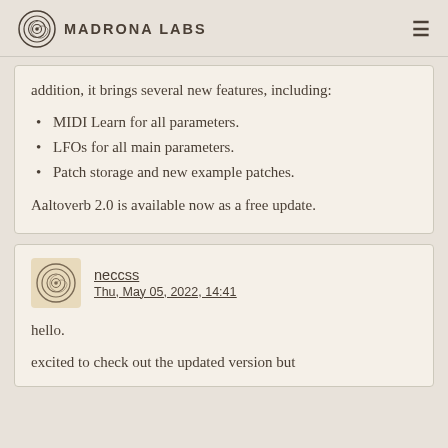Madrona Labs
addition, it brings several new features, including:
MIDI Learn for all parameters.
LFOs for all main parameters.
Patch storage and new example patches.
Aaltoverb 2.0 is available now as a free update.
neccss
Thu, May 05, 2022, 14:41
hello.
excited to check out the updated version but